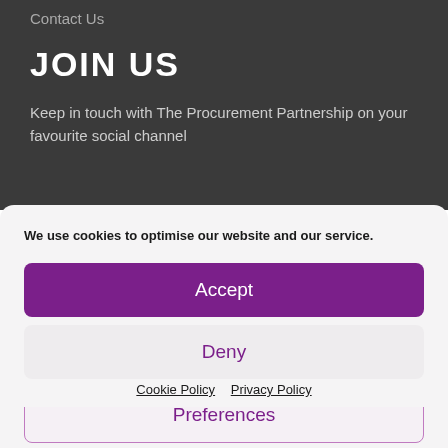Contact Us
JOIN US
Keep in touch with The Procurement Partnership on your favourite social channel
We use cookies to optimise our website and our service.
Accept
Deny
Preferences
Cookie Policy   Privacy Policy